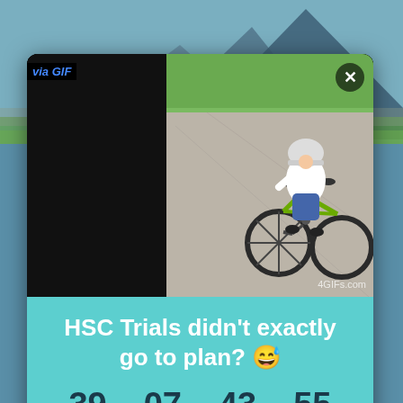[Figure (screenshot): Screenshot of a mobile app showing a child riding a small green bicycle on a paved surface, wearing a helmet and white shirt. The image is displayed in a modal/popup dialog with a black background. A 'via GIF' label appears top left, and an X close button top right. A 4GIFs.com watermark is in the bottom right of the image.]
HSC Trials didn't exactly go to plan? 😅
39 DAYS  07 HRS  43 MINS  55 SECS